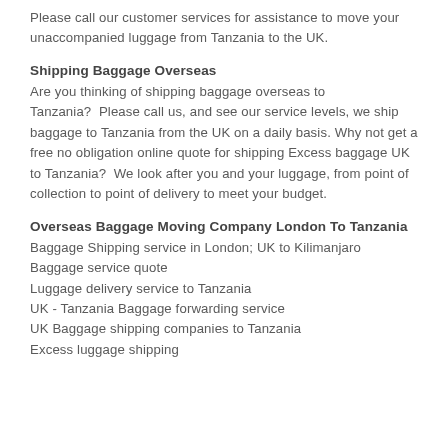Please call our customer services for assistance to move your unaccompanied luggage from Tanzania to the UK.
Shipping Baggage Overseas
Are you thinking of shipping baggage overseas to Tanzania?  Please call us, and see our service levels, we ship baggage to Tanzania from the UK on a daily basis. Why not get a free no obligation online quote for shipping Excess baggage UK to Tanzania?  We look after you and your luggage, from point of collection to point of delivery to meet your budget.
Overseas Baggage Moving Company London To Tanzania
Baggage Shipping service in London; UK to Kilimanjaro
Baggage service quote
Luggage delivery service to Tanzania
UK - Tanzania Baggage forwarding service
UK Baggage shipping companies to Tanzania
Excess luggage shipping